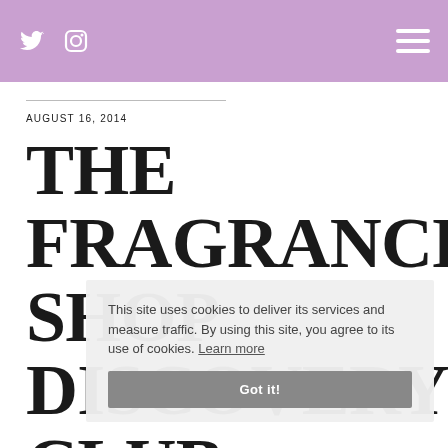Twitter Instagram [menu]
AUGUST 16, 2014
THE FRAGRANCE SHOP DISCOVERY CLUB – SUMMER 2014 EDITION
This site uses cookies to deliver its services and measure traffic. By using this site, you agree to its use of cookies. Learn more  Got it!